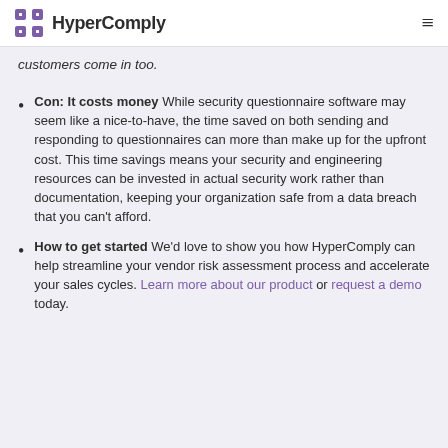HyperComply
customers come in too.
Con: It costs money While security questionnaire software may seem like a nice-to-have, the time saved on both sending and responding to questionnaires can more than make up for the upfront cost. This time savings means your security and engineering resources can be invested in actual security work rather than documentation, keeping your organization safe from a data breach that you can't afford.
How to get started We'd love to show you how HyperComply can help streamline your vendor risk assessment process and accelerate your sales cycles. Learn more about our product or request a demo today.